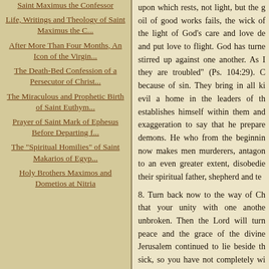Saint Maximus the Confessor
Life, Writings and Theology of Saint Maximus the C...
After More Than Four Months, An Icon of the Virgin...
The Death-Bed Confession of a Persecutor of Christ...
The Miraculous and Prophetic Birth of Saint Euthym...
Prayer of Saint Mark of Ephesus Before Departing f...
The "Spiritual Homilies" of Saint Makarios of Egyp...
Holy Brothers Maximos and Dometios at Nitria
upon which rests, not light, but the g oil of good works fails, the wick of the light of God's care and love de and put love to flight. God has turne stirred up against one another. As I they are troubled" (Ps. 104:29). C because of sin. They bring in all ki evil a home in the leaders of th establishes himself within them and exaggeration to say that he prepare demons. He who from the beginnin now makes men murderers, antagon to an even greater extent, disobedie their spiritual father, shepherd and te
8. Turn back now to the way of Ch that your unity with one anothe unbroken. Then the Lord will turn peace and the grace of the divine Jerusalem continued to lie beside th sick, so you have not completely wi which bestows peace. But as the p towards the grace from that pool, shepherd to preach peace, to gathe them together, or to cast out from sickness and weakness which come t